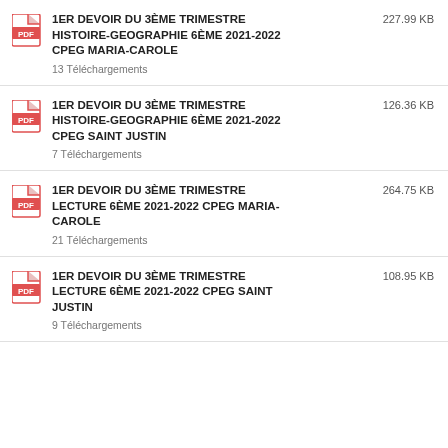1ER DEVOIR DU 3ÈME TRIMESTRE HISTOIRE-GEOGRAPHIE 6ÈME 2021-2022 CPEG MARIA-CAROLE — 227.99 KB — 13 Téléchargements
1ER DEVOIR DU 3ÈME TRIMESTRE HISTOIRE-GEOGRAPHIE 6ÈME 2021-2022 CPEG SAINT JUSTIN — 126.36 KB — 7 Téléchargements
1ER DEVOIR DU 3ÈME TRIMESTRE LECTURE 6ÈME 2021-2022 CPEG MARIA-CAROLE — 264.75 KB — 21 Téléchargements
1ER DEVOIR DU 3ÈME TRIMESTRE LECTURE 6ÈME 2021-2022 CPEG SAINT JUSTIN — 108.95 KB — 9 Téléchargements